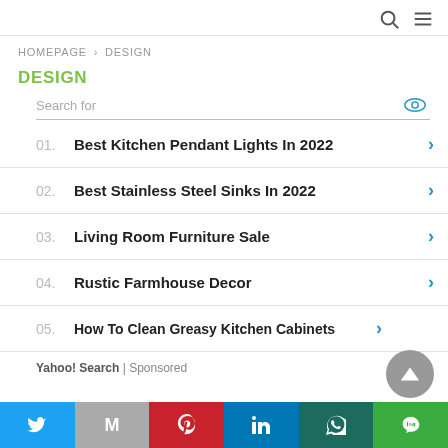[search icon] [menu icon]
HOMEPAGE › DESIGN
DESIGN
Search for
01. Best Kitchen Pendant Lights In 2022
02. Best Stainless Steel Sinks In 2022
03. Living Room Furniture Sale
04. Rustic Farmhouse Decor
05. How To Clean Greasy Kitchen Cabinets
Yahoo! Search | Sponsored
Twitter | Gmail | Pinterest | LinkedIn | WhatsApp | LINE